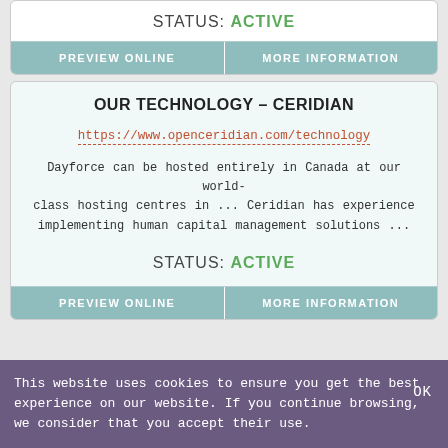STATUS: ACTIVE
| PREVIEW ONLINE | MORE INFORMATION |
| --- | --- |
OUR TECHNOLOGY – CERIDIAN
https://www.openceridian.com/technology
Dayforce can be hosted entirely in Canada at our world-class hosting centres in ... Ceridian has experience implementing human capital management solutions ...
STATUS: ACTIVE
| PREVIEW ONLINE | MORE INFORMATION |
| --- | --- |
This website uses cookies to ensure you get the best experience on our website. If you continue browsing, we consider that you accept their use.